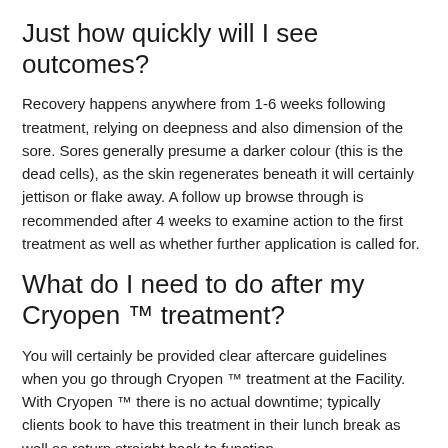Just how quickly will I see outcomes?
Recovery happens anywhere from 1-6 weeks following treatment, relying on deepness and also dimension of the sore. Sores generally presume a darker colour (this is the dead cells), as the skin regenerates beneath it will certainly jettison or flake away. A follow up browse through is recommended after 4 weeks to examine action to the first treatment as well as whether further application is called for.
What do I need to do after my Cryopen ™ treatment?
You will certainly be provided clear aftercare guidelines when you go through Cryopen ™ treatment at the Facility. With Cryopen ™ there is no actual downtime; typically clients book to have this treatment in their lunch break as well as return straight back to function.
We do not suggest covering the location with a dressing or